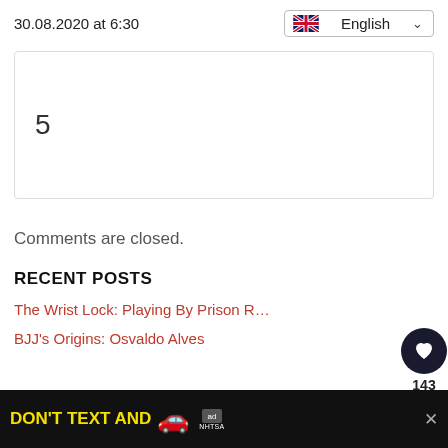30.08.2020 at 6:30
5
Comments are closed.
RECENT POSTS
The Wrist Lock: Playing By Prison R…
BJJ's Origins: Osvaldo Alves
[Figure (screenshot): Advertisement banner: DON'T TEXT AND [car emoji] with NHTSA logo]
WHAT'S NEXT → The 2 Worst BJJ Injuries…